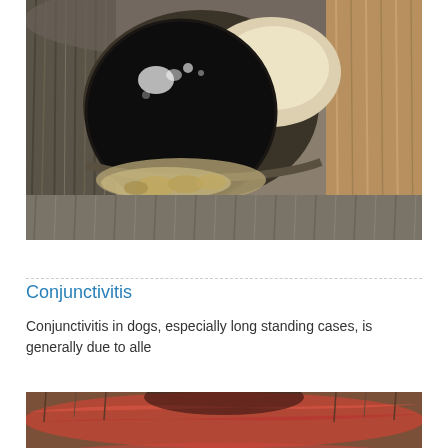[Figure (photo): Close-up macro photograph of a dog's eye showing conjunctivitis with discharge and crusty material around the lower eyelid, surrounded by fur]
Conjunctivitis
Conjunctivitis in dogs, especially long standing cases, is generally due to alle
[Figure (photo): Close-up photograph of a dog's eye showing reddened conjunctiva, partially visible at the bottom of the page]